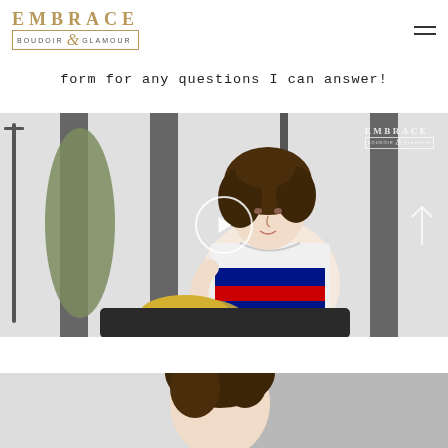EMBRACE BOUDOIR & GLAMOUR — logo and navigation
form for any questions I can answer!
[Figure (photo): Video thumbnail showing a woman with curly hair wearing a Tommy Hilfiger t-shirt, seated in what appears to be a photography studio with striped walls and clothing rack. A circular play button overlay is centered on the image. An Embrace Boudoir & Glamour watermark logo appears in the upper right. A scroll-up arrow appears in the lower right.]
[Figure (photo): Partial view of another photo at the bottom of the page showing a woman with curly hair, partially visible.]